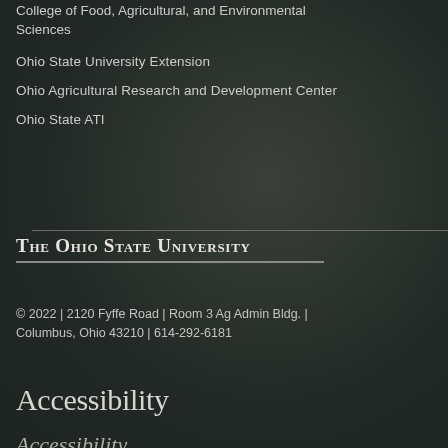College of Food, Agricultural, and Environmental Sciences
Ohio State University Extension
Ohio Agricultural Research and Development Center
Ohio State ATI
The Ohio State University
© 2022 | 2120 Fyffe Road | Room 3 Ag Admin Bldg. | Columbus, Ohio 43210 | 614-292-6181
Accessibility
Accessibility